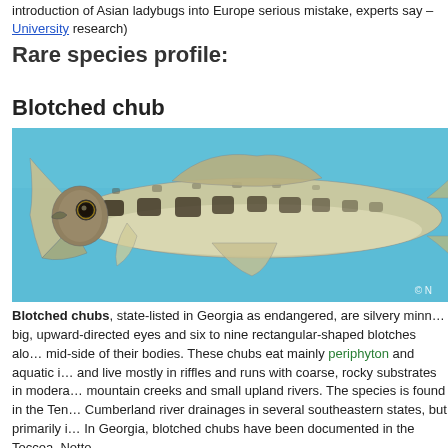introduction of Asian ladybugs into Europe serious mistake, experts say – University research)
Rare species profile:
Blotched chub
[Figure (photo): Photograph of a Blotched chub fish — a silvery minnow with dark blotches along its mid-side — shown in profile against a blue background. Copyright notice partially visible: © N…]
Blotched chubs, state-listed in Georgia as endangered, are silvery minnows with big, upward-directed eyes and six to nine rectangular-shaped blotches along the mid-side of their bodies. These chubs eat mainly periphyton and aquatic insects and live mostly in riffles and runs with coarse, rocky substrates in moderate mountain creeks and small upland rivers. The species is found in the Tennessee and Cumberland river drainages in several southeastern states, but primarily in Georgia. In Georgia, blotched chubs have been documented in the Toccoa, Nottely,